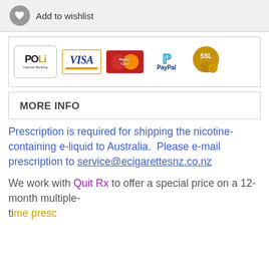Add to wishlist
[Figure (logo): Payment method logos: POLi Internet Banking, VISA, MasterCard, PayPal, SSL padlock security badge]
MORE INFO
Prescription is required for shipping the nicotine-containing e-liquid to Australia.  Please e-mail prescription to service@ecigarettesnz.co.nz
We work with Quit Rx to offer a special price on a 12-month multiple-time prescription for AU$55